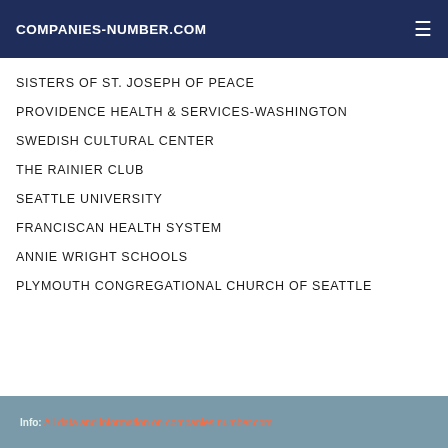COMPANIES-NUMBER.COM
SISTERS OF ST. JOSEPH OF PEACE
PROVIDENCE HEALTH & SERVICES-WASHINGTON
SWEDISH CULTURAL CENTER
THE RAINIER CLUB
SEATTLE UNIVERSITY
FRANCISCAN HEALTH SYSTEM
ANNIE WRIGHT SCHOOLS
PLYMOUTH CONGREGATIONAL CHURCH OF SEATTLE
Info: All data and information on companies-number.com